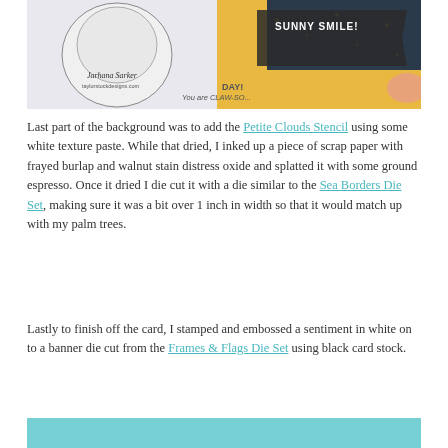[Figure (photo): Craft/card-making photo showing a cat illustration stamp, yellow and teal patterned background, text stamps reading 'SUNNY SMILE!', 'DAY!', 'You are CLAW-SO...', with artist signature 'Jarhana Sarker' and website text, and a hand visible in frame.]
Last part of the background was to add the Petite Clouds Stencil using some white texture paste. While that dried, I inked up a piece of scrap paper with frayed burlap and walnut stain distress oxide and splatted it with some ground espresso. Once it dried I die cut it with a die similar to the Sea Borders Die Set, making sure it was a bit over 1 inch in width so that it would match up with my palm trees.
Lastly to finish off the card, I stamped and embossed a sentiment in white on to a banner die cut from the Frames & Flags Die Set using black card stock.
[Figure (photo): Partial bottom image showing teal/turquoise background, beginning of another craft project photo.]